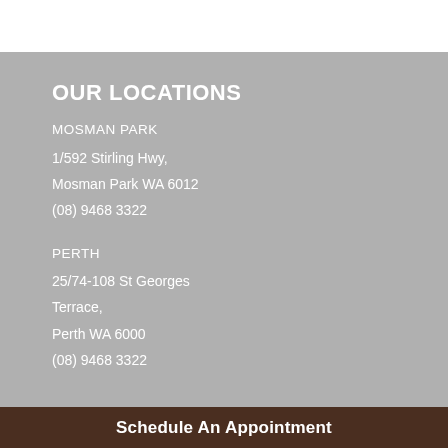OUR LOCATIONS
MOSMAN PARK
1/592 Stirling Hwy,
Mosman Park WA 6012
(08) 9468 3322
PERTH
25/74-108 St Georges
Terrace,
Perth WA 6000
(08) 9468 3322
Schedule An Appointment